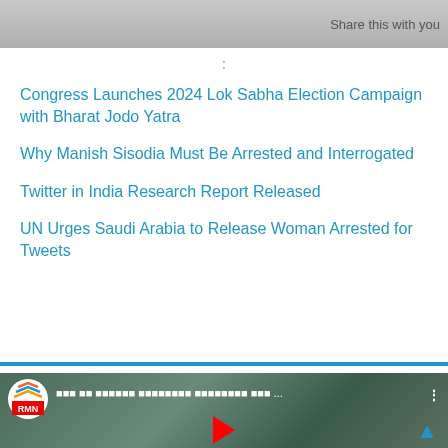Share this with you
:
Congress Launches 2024 Lok Sabha Election Campaign with Bharat Jodo Yatra
Why Manish Sisodia Must Be Arrested and Interrogated
Twitter in India Research Report Released
UN Urges Saudi Arabia to Release Woman Arrested for Tweets
[Figure (screenshot): Blue banner section of a news website]
[Figure (screenshot): Video thumbnail with RMN logo, Hindi text title, children in background, red play button]